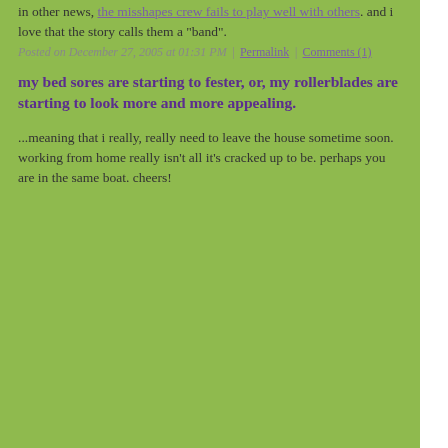in other news, the misshapes crew fails to play well with others. and i love that the story calls them a "band".
Posted on December 27, 2005 at 01:31 PM | Permalink | Comments (1)
my bed sores are starting to fester, or, my rollerblades are starting to look more and more appealing.
...meaning that i really, really need to leave the house sometime soon. working from home really isn't all it's cracked up to be. perhaps you are in the same boat. cheers!